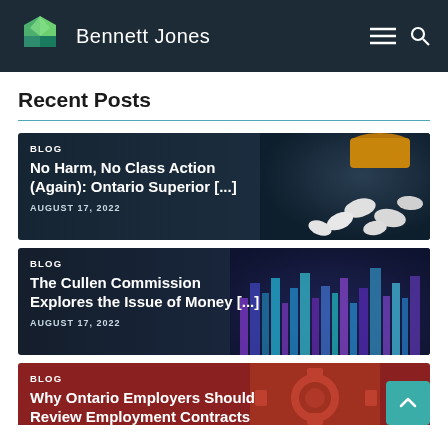Bennett Jones
Recent Posts
[Figure (screenshot): Blog card with pills image: BLOG - No Harm, No Class Action (Again): Ontario Superior [...] - AUGUST 17, 2022]
[Figure (screenshot): Blog card with city image: BLOG - The Cullen Commission Explores the Issue of Money [...] - AUGUST 17, 2022]
[Figure (screenshot): Blog card with red background: BLOG - Why Ontario Employers Should Review Employment Contracts Now]